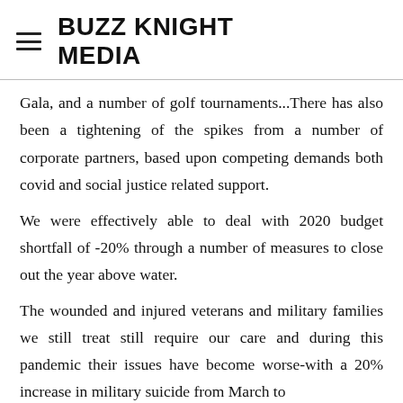BUZZ KNIGHT MEDIA
Gala, and a number of golf tournaments...There has also been a tightening of the spikes from a number of corporate partners, based upon competing demands both covid and social justice related support.
We were effectively able to deal with 2020 budget shortfall of -20% through a number of measures to close out the year above water.
The wounded and injured veterans and military families we still treat still require our care and during this pandemic their issues have become worse-with a 20% increase in military suicide from March to